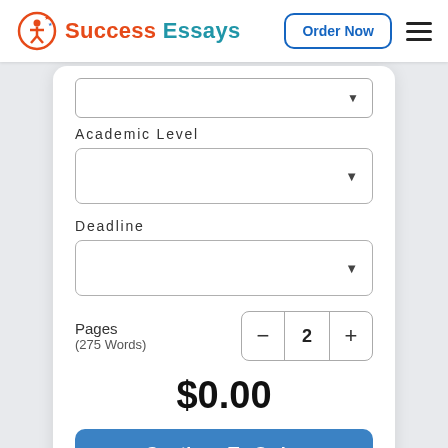[Figure (logo): Success Essays logo with icon and text, Order Now button, and hamburger menu in navigation bar]
Academic Level
[Figure (screenshot): Dropdown select box for Academic Level]
Deadline
[Figure (screenshot): Dropdown select box for Deadline]
Pages
(275 Words)
[Figure (screenshot): Stepper control showing value 2 with minus and plus buttons]
$0.00
Continue To Order